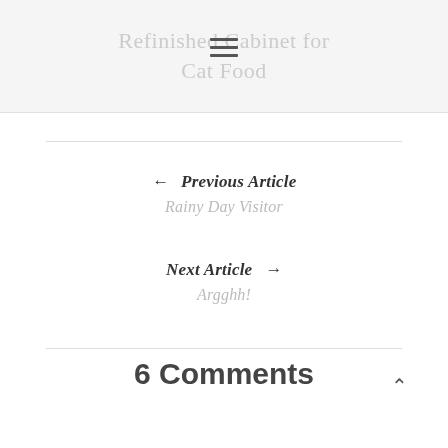Refinished Cabinet for Cat Food
← Previous Article
Rainy Day Visitor
Next Article →
Argghh!
6 Comments